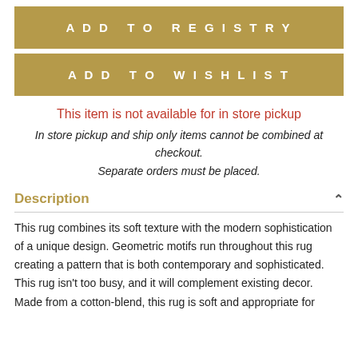ADD TO REGISTRY
ADD TO WISHLIST
This item is not available for in store pickup
In store pickup and ship only items cannot be combined at checkout.
Separate orders must be placed.
Description
This rug combines its soft texture with the modern sophistication of a unique design. Geometric motifs run throughout this rug creating a pattern that is both contemporary and sophisticated. This rug isn't too busy, and it will complement existing decor. Made from a cotton-blend, this rug is soft and appropriate for